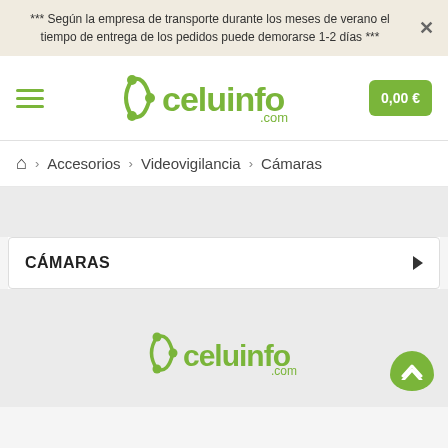*** Según la empresa de transporte durante los meses de verano el tiempo de entrega de los pedidos puede demorarse 1-2 días ***
[Figure (logo): Celuinfo.com logo with green icon and text]
0,00 €
⌂ > Accesorios > Videovigilancia > Cámaras
CÁMARAS
[Figure (logo): Celuinfo.com logo (footer) with green icon and text]